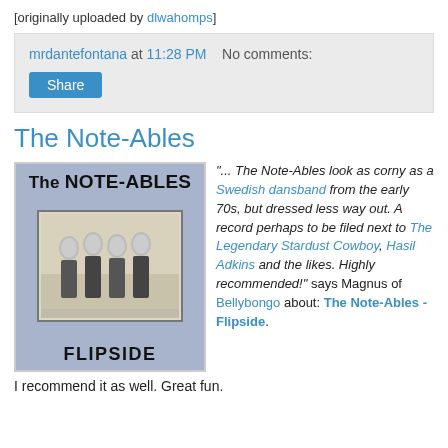[originally uploaded by dlwahomps]
mrdantefontana at 11:28 PM   No comments:
Share
The Note-Ables
[Figure (photo): Album cover for The Note-Ables - Flipside, showing a blue cover with band name, a black-and-white photo of four band members, and the word FLIPSIDE at the bottom.]
"... The Note-Ables look as corny as a Swedish dansband from the early 70s, but dressed less way out. A record perhaps to be filed next to The Legendary Stardust Cowboy, Hasil Adkins and the likes. Highly recommended!" says Magnus of Bellybongo about: The Note-Ables - Flipside.
I recommend it as well. Great fun.